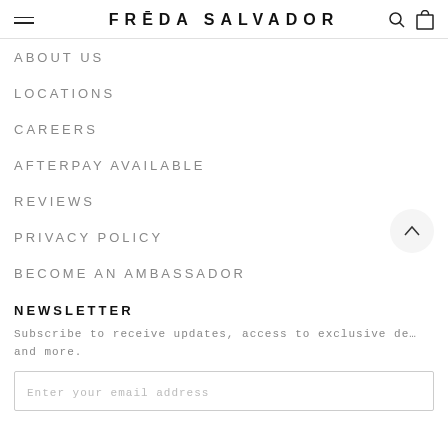FRĒDA SALVADOR
ABOUT US
LOCATIONS
CAREERS
AFTERPAY AVAILABLE
REVIEWS
PRIVACY POLICY
BECOME AN AMBASSADOR
NEWSLETTER
Subscribe to receive updates, access to exclusive deals, and more.
Enter your email address